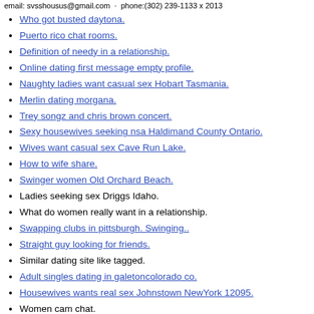email: svsshousus@gmail.com · phone:(302) 239-1133 x 2013
Who got busted daytona.
Puerto rico chat rooms.
Definition of needy in a relationship.
Online dating first message empty profile.
Naughty ladies want casual sex Hobart Tasmania.
Merlin dating morgana.
Trey songz and chris brown concert.
Sexy housewives seeking nsa Haldimand County Ontario.
Wives want casual sex Cave Run Lake.
How to wife share.
Swinger women Old Orchard Beach.
Ladies seeking sex Driggs Idaho.
What do women really want in a relationship.
Swapping clubs in pittsburgh. Swinging..
Straight guy looking for friends.
Similar dating site like tagged.
Adult singles dating in galetoncolorado co.
Housewives wants real sex Johnstown NewYork 12095.
Women cam chat.
2nd hand furniture for sale.
25 needs sumthing discrete.
Amateur fuck sluts.
Male lovebirds for sale.
Duplexes for rent in omaha ne.